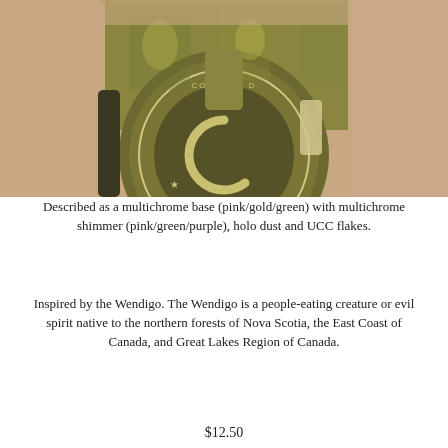[Figure (photo): Close-up photograph of a hand holding a Colores De Carol nail polish bottle with a large circular logo reading 'COLORES C HAND MIXED NA', showing nails painted with a multichrome olive-gold shimmer polish.]
Described as a multichrome base (pink/gold/green) with multichrome shimmer (pink/green/purple), holo dust and UCC flakes.
Inspired by the Wendigo. The Wendigo is a people-eating creature or evil spirit native to the northern forests of Nova Scotia, the East Coast of Canada, and Great Lakes Region of Canada.
$12.50